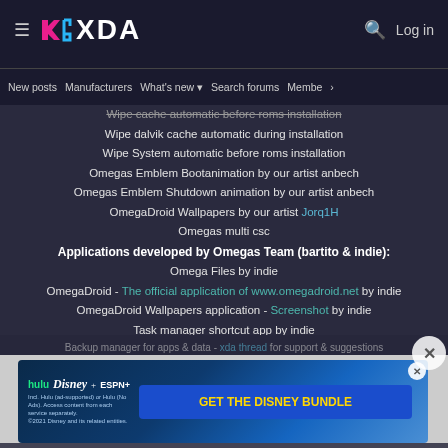XDA Developers - Navigation header with logo, search, login
New posts | Manufacturers | What's new | Search forums | Members >
Wipe cache automatic before roms installation
Wipe dalvik cache automatic during installation
Wipe System automatic before roms installation
Omegas Emblem Bootanimation by our artist anbech
Omegas Emblem Shutdown animation by our artist anbech
OmegaDroid Wallpapers by our artist Jorq1H
Omegas multi csc
Applications developed by Omegas Team (bartito & indie):
Omega Files by indie
OmegaDroid - The official application of www.omegadroid.net by indie
OmegaDroid Wallpapers application - Screenshot by indie
Task manager shortcut app by indie
Accounts Sync Profiler - xda thread for support & suggestions - Play Store link - by bartito
Backup manager for apps & data - xda thread for support & suggestions
[Figure (screenshot): Disney Bundle advertisement banner with Hulu, Disney+, ESPN+ logos and GET THE DISNEY BUNDLE CTA]
Notification Manager - xda thread for support & suggestions - Pla...